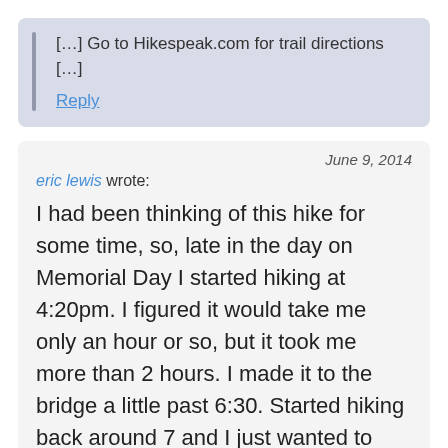[…] Go to Hikespeak.com for trail directions […]
Reply
June 9, 2014
eric lewis wrote:
I had been thinking of this hike for some time, so, late in the day on Memorial Day I started hiking at 4:20pm. I figured it would take me only an hour or so, but it took me more than 2 hours. I made it to the bridge a little past 6:30. Started hiking back around 7 and I just wanted to make it back before it got too dark. Made it back to the